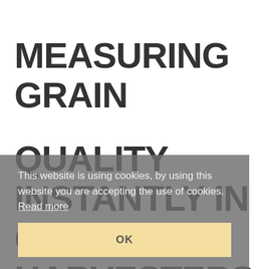MEASURING GRAIN QUALITY INSTANTLY IN COMBINE HARVESTERS AND SILO/DRYER
This website is using cookies, by using this website you are accepting the use of cookies. Read more